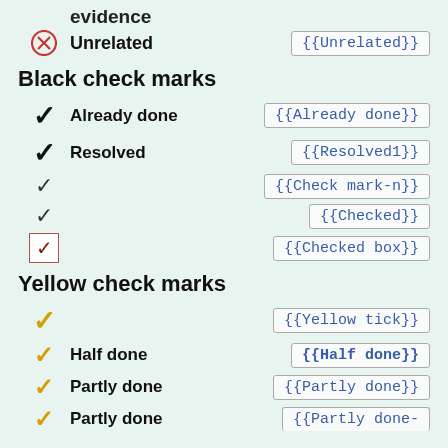evidence
⊗ Unrelated   {{Unrelated}}
Black check marks
✓ Already done   {{Already done}}
✓ Resolved   {{Resolved1}}
✓   {{Check mark-n}}
✓   {{Checked}}
[checked box]   {{Checked box}}
Yellow check marks
✓   {{Yellow tick}}
✓ Half done   {{Half done}}
✓ Partly done   {{Partly done}}
✓ Partly done   {{Partly done-...}}